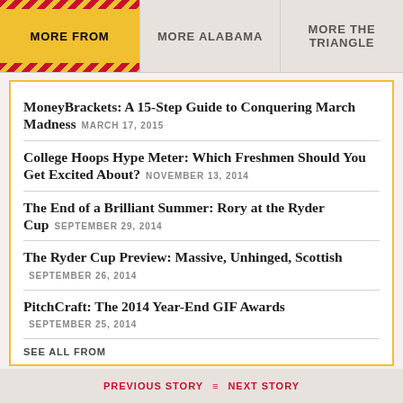MORE FROM | MORE ALABAMA | MORE THE TRIANGLE
MoneyBrackets: A 15-Step Guide to Conquering March Madness MARCH 17, 2015
College Hoops Hype Meter: Which Freshmen Should You Get Excited About? NOVEMBER 13, 2014
The End of a Brilliant Summer: Rory at the Ryder Cup SEPTEMBER 29, 2014
The Ryder Cup Preview: Massive, Unhinged, Scottish SEPTEMBER 26, 2014
PitchCraft: The 2014 Year-End GIF Awards SEPTEMBER 25, 2014
SEE ALL FROM
PREVIOUS STORY | NEXT STORY